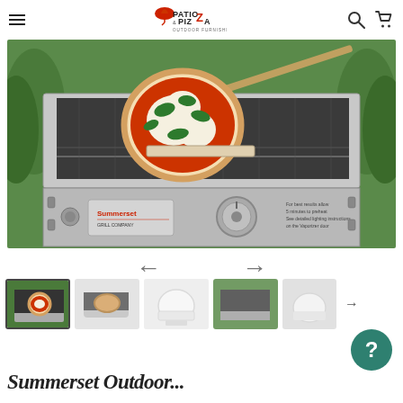Patio & Pizza Outdoor Furnishings — navigation header with logo, search, and cart icons
[Figure (photo): Large product photo of a stainless steel Summerset pizza oven with a margherita pizza being inserted on a pizza peel. The oven is open showing the interior grill rack. Green foliage visible in background. Stainless steel front panel with brand name, control knob and igniter visible.]
[Figure (photo): Row of 5 product thumbnail images: 1) Summerset pizza oven open showing pizza inside, 2) Close-up of pizza in oven, 3) White standalone round pizza oven, 4) Summerset pizza oven exterior view with plants, 5) White pizza oven partial view. Arrow button to navigate to more thumbnails on right.]
Summerset Outdoor...